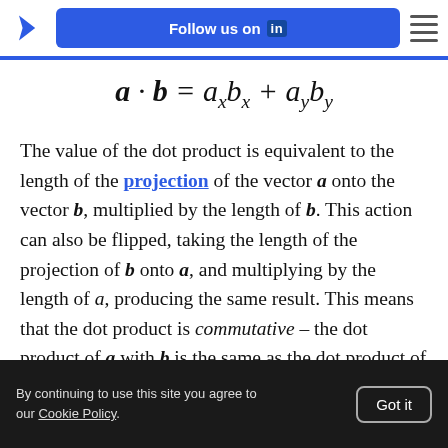Follow us on LinkedIn
The value of the dot product is equivalent to the length of the projection of the vector a onto the vector b, multiplied by the length of b. This action can also be flipped, taking the length of the projection of b onto a, and multiplying by the length of a, producing the same result. This means that the dot product is commutative – the dot product of a with b is the same as the dot product of b with a. One
By continuing to use this site you agree to our Cookie Policy. Got it